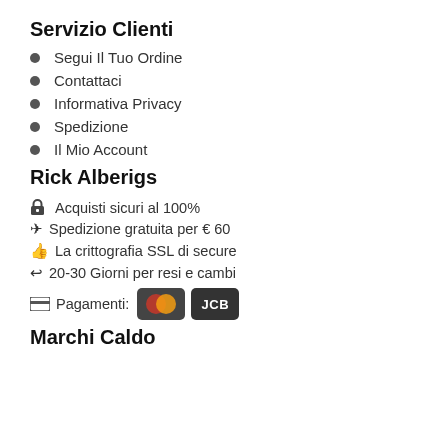Servizio Clienti
Segui Il Tuo Ordine
Contattaci
Informativa Privacy
Spedizione
Il Mio Account
Rick Alberigs
🔒 Acquisti sicuri al 100%
✈ Spedizione gratuita per € 60
👍 La crittografia SSL di secure
↩ 20-30 Giorni per resi e cambi
🖥 Pagamenti: [Mastercard] [JCB]
Marchi Caldo